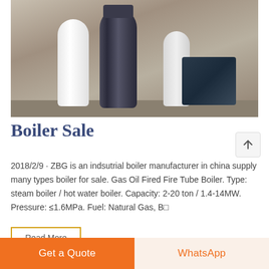[Figure (photo): Industrial boilers in a factory/warehouse setting. A tall dark cylindrical boiler in the center, white cylindrical boilers on the sides, and heavy machinery on the right. Concrete floor visible.]
Boiler Sale
2018/2/9 · ZBG is an indsutrial boiler manufacturer in china supply many types boiler for sale. Gas Oil Fired Fire Tube Boiler. Type: steam boiler / hot water boiler. Capacity: 2-20 ton / 1.4-14MW. Pressure: ≤1.6MPa. Fuel: Natural Gas, B□
Read More
Get a Quote
WhatsApp